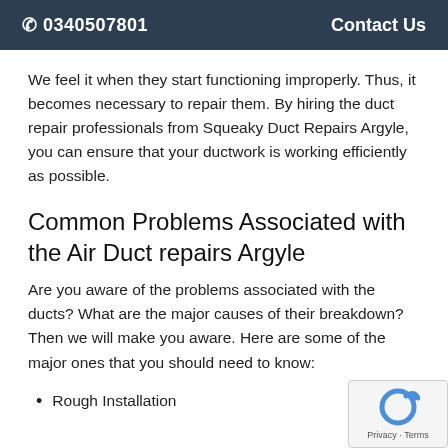☎ 0340507801    Contact Us
We feel it when they start functioning improperly. Thus, it becomes necessary to repair them. By hiring the duct repair professionals from Squeaky Duct Repairs Argyle, you can ensure that your ductwork is working efficiently as possible.
Common Problems Associated with the Air Duct repairs Argyle
Are you aware of the problems associated with the ducts? What are the major causes of their breakdown? Then we will make you aware. Here are some of the major ones that you should need to know:
Rough Installation